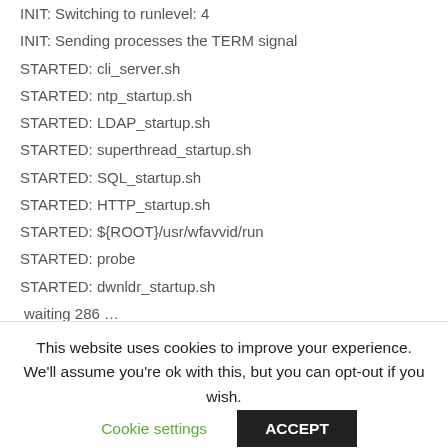INIT: Switching to runlevel: 4
INIT: Sending processes the TERM signal
STARTED: cli_server.sh
STARTED: ntp_startup.sh
STARTED: LDAP_startup.sh
STARTED: superthread_startup.sh
STARTED: SQL_startup.sh
STARTED: HTTP_startup.sh
STARTED: ${ROOT}/usr/wfavvid/run
STARTED: probe
STARTED: dwnldr_startup.sh
waiting 286 …
Restarting can take a while
This website uses cookies to improve your experience. We'll assume you're ok with this, but you can opt-out if you wish.
Cookie settings
ACCEPT